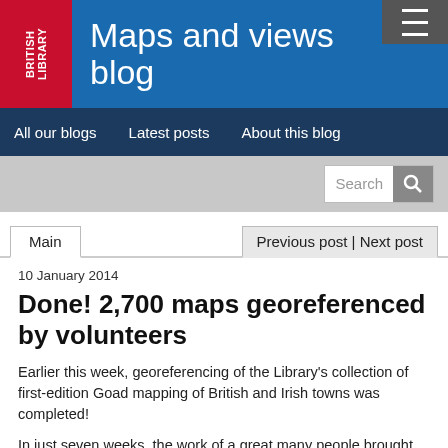Maps and views blog
All our blogs | Latest posts | About this blog
10 January 2014
Done! 2,700 maps georeferenced by volunteers
Earlier this week, georeferencing of the Library's collection of first-edition Goad mapping of British and Irish towns was completed!
In just seven weeks, the work of a great many people brought order and place to what was previously simply 2,700 digital image files. The precise location of each scanned map - for the over 50 cities and towns